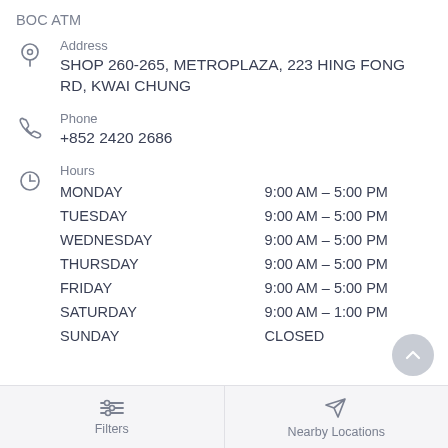BOC ATM
Address
SHOP 260-265, METROPLAZA, 223 HING FONG RD, KWAI CHUNG
Phone
+852 2420 2686
| Day | Hours |
| --- | --- |
| MONDAY | 9:00 AM – 5:00 PM |
| TUESDAY | 9:00 AM – 5:00 PM |
| WEDNESDAY | 9:00 AM – 5:00 PM |
| THURSDAY | 9:00 AM – 5:00 PM |
| FRIDAY | 9:00 AM – 5:00 PM |
| SATURDAY | 9:00 AM – 1:00 PM |
| SUNDAY | CLOSED |
Filters | Nearby Locations